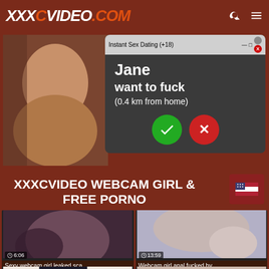XXXCVIDEO.COM
[Figure (screenshot): Ad popup overlay: Instant Sex Dating (+18) popup with text 'Jane want to fuck (0.4 km from home)' with green checkmark and red X buttons]
XXXCVIDEO WEBCAM GIRL & FREE PORNO
[Figure (screenshot): Video thumbnail - Sexy webcam girl leaked sca... duration 6:06]
[Figure (screenshot): Video thumbnail - Webcam girl anal fucked by ... duration 13:59]
[Figure (screenshot): Video thumbnail - girl in hijab - partial view]
[Figure (screenshot): Video thumbnail - woman lying down - partial view]